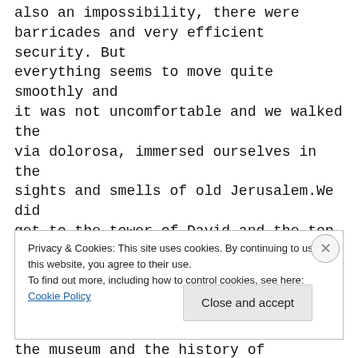also an impossibility, there were barricades and very efficient security. But everything seems to move quite smoothly and it was not uncomfortable and we walked the via dolorosa, immersed ourselves in the sights and smells of old Jerusalem.We did get to the tower of David and the top of the Citadel to see the panoramic views of Jerusalem spread below. Also managed to see the museum and the history of Jerusalem, which is so varied - Solomon, David,
Privacy & Cookies: This site uses cookies. By continuing to use this website, you agree to their use.
To find out more, including how to control cookies, see here: Cookie Policy
Close and accept